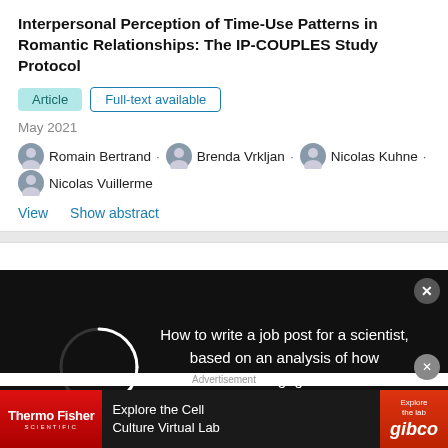Interpersonal Perception of Time-Use Patterns in Romantic Relationships: The IP-COUPLES Study Protocol
Article   Full-text available
May 2021
Romain Bertrand · Brenda Vrkljan · Nicolas Kuhne · Nicolas Vuillerme
View   Show abstract
[Figure (other): Advertisement overlay with loading spinner (circle outline) on black background with text: How to write a job post for a scientist, based on an analysis of how scientists have engaged with 2-million job posts]
al. 2016b;Juvancic-Heltzel et al. 2013), life satisfaction and intrinsic motivation (González-Cutre et al. 2016), relationship satisfaction and quality (Aron et al.
[Figure (other): Bottom advertisement bar for ThermoFisher Scientific - Explore the Cell Culture Virtual Lab / gibco]